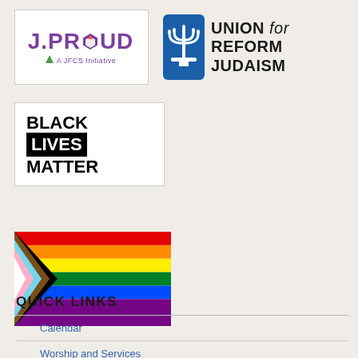[Figure (logo): J.PROUD logo - A JFCS Initiative, purple text with colorful diamond/hexagon icon]
[Figure (logo): Union for Reform Judaism logo - blue menorah icon with bold text]
[Figure (logo): Black Lives Matter logo - black and white text with black background on LIVES]
[Figure (illustration): Progress Pride Flag showing rainbow stripes with black, brown, light blue, pink, and white chevron on left]
QUICK LINKS
Calendar
Worship and Services